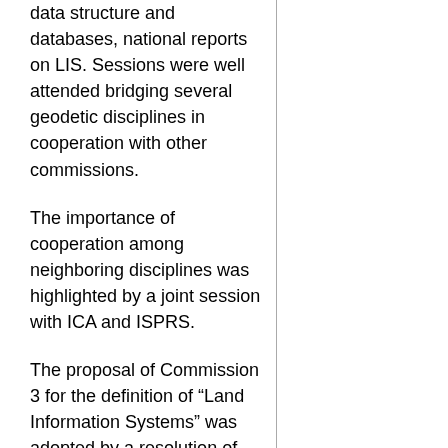data structure and databases, national reports on LIS. Sessions were well attended bridging several geodetic disciplines in cooperation with other commissions.
The importance of cooperation among neighboring disciplines was highlighted by a joint session with ICA and ISPRS.
The proposal of Commission 3 for the definition of “Land Information Systems” was adopted by a resolution of the FIG-General Assembly: